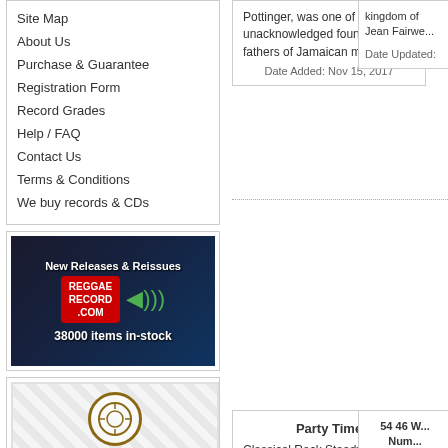Site Map
About Us
Purchase & Guarantee
Registration Form
Record Grades
Help / FAQ
Contact Us
Terms & Conditions
We buy records & CDs
[Figure (advertisement): ReggaeRecord.com advertisement: New Releases & Reissues, 38000 items in-stock]
[Figure (advertisement): New Release Letters Subscribe Now! Click advertisement]
Pottinger, was one of the unacknowledged founding fathers of Jamaican music.
Date Added: Nov 15, 2017
kingdom of Jean Fairwe...
Date Updated:
Party Time
Classical Rock Steady rhythm recorded at Studio One, the original cut was performed by Heptones in 1967.
Date Added: Apr 15, 2016
54 46 W... Num...
Date Update...